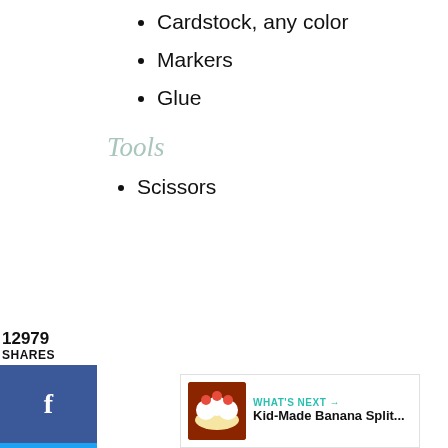Cardstock, any color
Markers
Glue
Tools
12979
SHARES
Scissors
[Figure (infographic): Social share sidebar with Facebook, Twitter, and Pinterest buttons showing 12979 shares]
[Figure (infographic): Floating right-side buttons: heart/like button with 13K count and share button]
[Figure (infographic): What's Next banner showing Kid-Made Banana Split... with food image thumbnail]